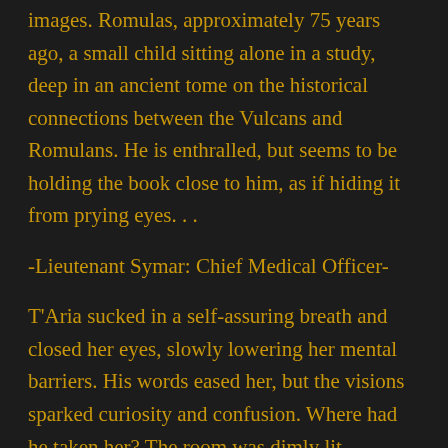images. Romulas, approximately 75 years ago, a small child sitting alone in a study, deep in an ancient tome on the historical connections between the Vulcans and Romulans. He is enthralled, but seems to be holding the book close to him, as if hiding it from prying eyes. . .
-Lieutenant Symar: Chief Medical Officer-
T'Aria sucked in a self-assuring breath and closed her eyes, slowly lowering her mental barriers. His words eased her, but the visions sparked curiosity and confusion. Where had he taken her? The room was dimly lit, assembled from stone that trapped her in its cold and foreboding embrace. Was this Vulcan? She sensed dampness in the air clashed with her memory of an arid, dust-filled warmth. And the rock. It was ashen and composed, unlike the